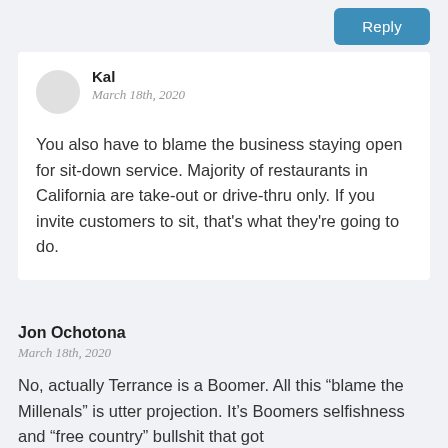Reply
Kal
March 18th, 2020
You also have to blame the business staying open for sit-down service. Majority of restaurants in California are take-out or drive-thru only. If you invite customers to sit, that's what they're going to do.
Jon Ochotona
March 18th, 2020
No, actually Terrance is a Boomer. All this “blame the Millenals” is utter projection. It’s Boomers selfishness and “free country” bullshit that got